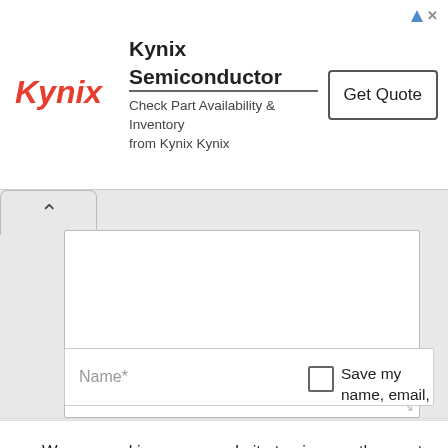[Figure (other): Kynix Semiconductor advertisement banner with logo, headline 'Kynix Semiconductor', subtext 'Check Part Availability & Inventory from Kynix Kynix', and a 'Get Quote' button]
[Figure (screenshot): Web form partial view showing a textarea with a caret/collapse tab, and a Name* input field with a Save my name, email, checkbox]
We use cookies on our website to give you the most relevant experience by remembering your preferences and repeat visits. By clicking “Accept”, you consent to the use of ALL the cookies.
Do not sell my personal information.
Cookie Settings
Accept